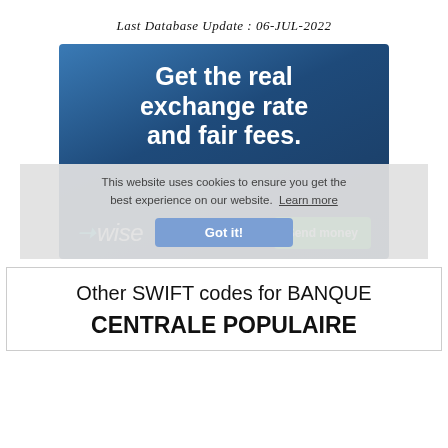Last Database Update : 06-JUL-2022
[Figure (illustration): Wise money transfer advertisement banner with dark blue gradient background. Text reads 'Get the real exchange rate and fair fees.' with Wise logo and 'Send money' green button at bottom.]
This website uses cookies to ensure you get the best experience on our website. Learn more
Got it!
Other SWIFT codes for BANQUE CENTRALE POPULAIRE